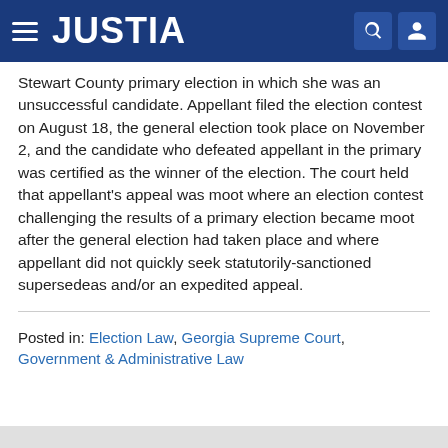JUSTIA
Stewart County primary election in which she was an unsuccessful candidate. Appellant filed the election contest on August 18, the general election took place on November 2, and the candidate who defeated appellant in the primary was certified as the winner of the election. The court held that appellant's appeal was moot where an election contest challenging the results of a primary election became moot after the general election had taken place and where appellant did not quickly seek statutorily-sanctioned supersedeas and/or an expedited appeal.
Posted in: Election Law, Georgia Supreme Court, Government & Administrative Law